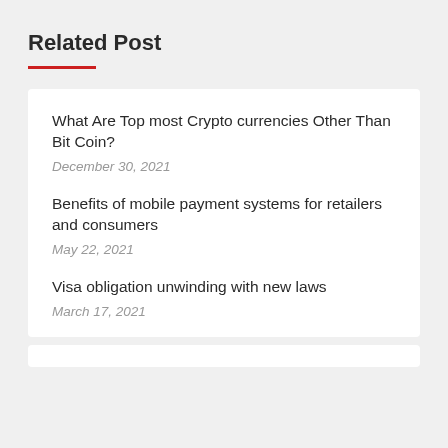Related Post
What Are Top most Crypto currencies Other Than Bit Coin?
December 30, 2021
Benefits of mobile payment systems for retailers and consumers
May 22, 2021
Visa obligation unwinding with new laws
March 17, 2021